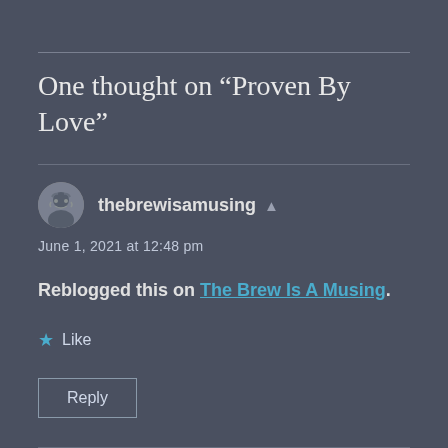One thought on “Proven By Love”
thebrewisamusing
June 1, 2021 at 12:48 pm
Reblogged this on The Brew Is A Musing.
★ Like
Reply